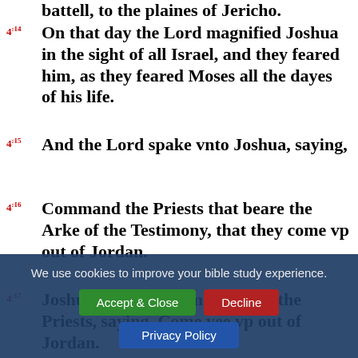battell, to the plaines of Jericho.
4:14 On that day the Lord magnified Joshua in the sight of all Israel, and they feared him, as they feared Moses all the dayes of his life.
4:15 And the Lord spake vnto Joshua, saying,
4:16 Command the Priests that beare the Arke of the Testimony, that they come vp out of Jordan.
4:17 Joshua therefore commaunded the Priests, saying, Come yee vp out of Jordan.
We use cookies to improve your bible study experience. Accept & Close | Decline | Privacy Policy